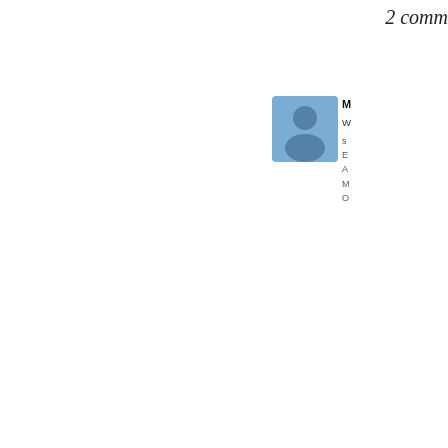2 comments
[Figure (illustration): User avatar placeholder icon — blue/grey square with silhouette person figure]
M
W
s
E
A
M
O
A
F
[Figure (screenshot): Gray comment input box area with a black vertical bar cursor]
RS